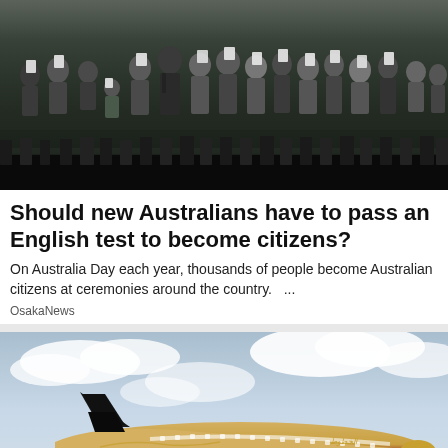[Figure (photo): Group of people at an Australian citizenship ceremony, holding certificates, standing on a stage with a dark background]
Should new Australians have to pass an English test to become citizens?
On Australia Day each year, thousands of people become Australian citizens at ceremonies around the country.    …
OsakaNews
[Figure (photo): Qatar Airways Boeing 777 aircraft with FIFA World Cup Qatar 2022 livery, in flight against a cloudy sky]